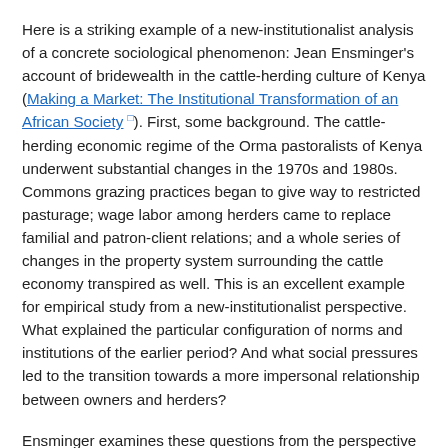Here is a striking example of a new-institutionalist analysis of a concrete sociological phenomenon: Jean Ensminger's account of bridewealth in the cattle-herding culture of Kenya (Making a Market: The Institutional Transformation of an African Society). First, some background. The cattle-herding economic regime of the Orma pastoralists of Kenya underwent substantial changes in the 1970s and 1980s. Commons grazing practices began to give way to restricted pasturage; wage labor among herders came to replace familial and patron-client relations; and a whole series of changes in the property system surrounding the cattle economy transpired as well. This is an excellent example for empirical study from a new-institutionalist perspective. What explained the particular configuration of norms and institutions of the earlier period? And what social pressures led to the transition towards a more impersonal relationship between owners and herders?
Ensminger examines these questions from the perspective of the new institutionalism. Building on the theoretical frameworks of Douglass North and others, she undertakes to provide an analysis of the workings of traditional Orma